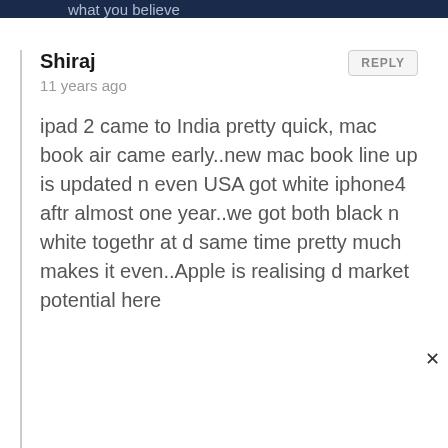what you believe
Shiraj
11 years ago
ipad 2 came to India pretty quick, mac book air came early..new mac book line up is updated n even USA got white iphone4 aftr almost one year..we got both black n white togethr at d same time pretty much makes it even..Apple is realising d market potential here